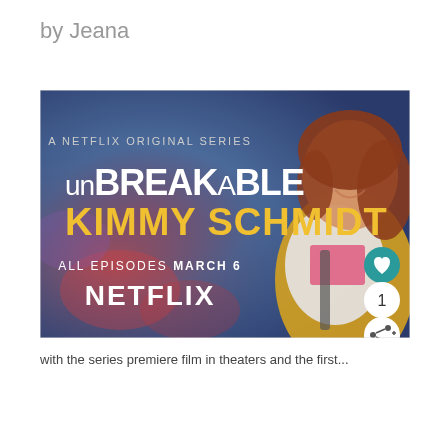by Jeana
[Figure (photo): Promotional image for 'Unbreakable Kimmy Schmidt', a Netflix Original Series. Shows a smiling red-haired woman in a yellow jacket and floral shirt with a backpack, against a blurred city background. Text reads: A NETFLIX ORIGINAL SERIES / UNBREAKABLE KIMMY SCHMIDT / ALL EPISODES MARCH 6 / NETFLIX. UI elements: heart icon button, share icon button, and number '1'.]
with the series premiere film in theaters and the first...